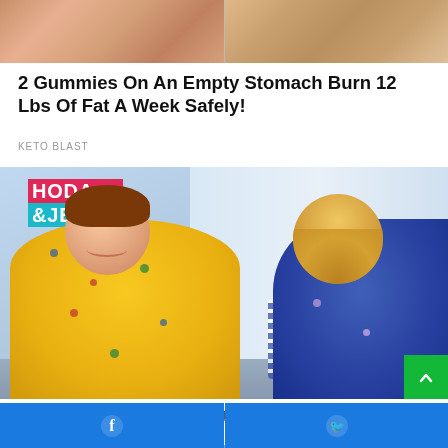[Figure (photo): Advertisement image showing close-up of overweight body parts, split into two panels]
2 Gummies On An Empty Stomach Burn 12 Lbs Of Fat A Week Safely!
KETO BLAST
[Figure (photo): Photo of Chrissy Metz on the Hoda & Jenna TV show set, wearing a yellow floral dress, with another woman in a blue floral dress beside her]
Stunning Transformation Of Chrissy Metz
Facebook share button | Twitter share button